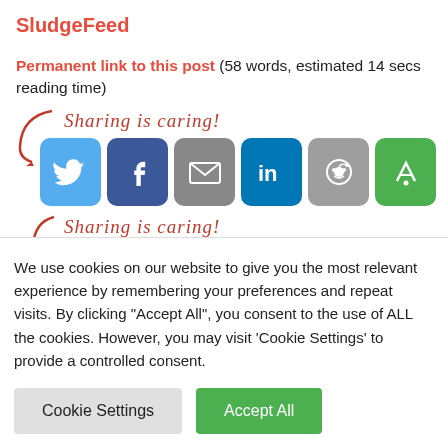SludgeFeed
Permanent link to this post (58 words, estimated 14 secs reading time)
[Figure (screenshot): Sharing is caring! text with arrow and social media share buttons: Twitter, Facebook, Email, LinkedIn, Reddit, Feedly (first row)]
[Figure (screenshot): Sharing is caring! text with arrow and social media share buttons (second row, partially visible)]
We use cookies on our website to give you the most relevant experience by remembering your preferences and repeat visits. By clicking "Accept All", you consent to the use of ALL the cookies. However, you may visit 'Cookie Settings' to provide a controlled consent.
Cookie Settings   Accept All